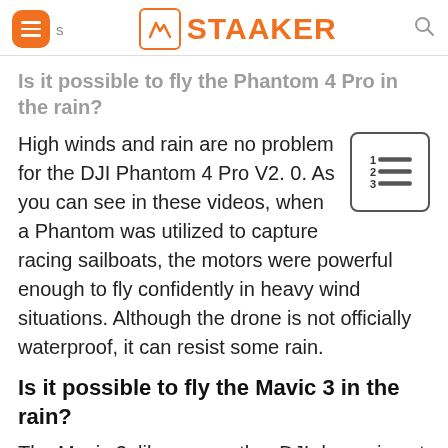STAAKER
Is it possible to fly the Phantom 4 Pro in the rain?
High winds and rain are no problem for the DJI Phantom 4 Pro V2. 0. As you can see in these videos, when a Phantom was utilized to capture racing sailboats, the motors were powerful enough to fly confidently in heavy wind situations. Although the drone is not officially waterproof, it can resist some rain.
Is it possible to fly the Mavic 3 in the rain?
The Mavic 3, like every other DJI drone, is not waterproof, and flying it in the rain is not recommended. DJI also advises against flying in high humidity or foggy conditions since precipitation could cause a short circuit, rendering the drone inoperative and leading it to crash.